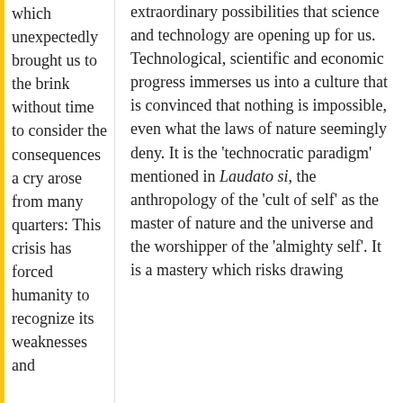which unexpectedly brought us to the brink without time to consider the consequences a cry arose from many quarters: This crisis has forced humanity to recognize its weaknesses and
extraordinary possibilities that science and technology are opening up for us. Technological, scientific and economic progress immerses us into a culture that is convinced that nothing is impossible, even what the laws of nature seemingly deny. It is the 'technocratic paradigm' mentioned in Laudato si, the anthropology of the 'cult of self' as the master of nature and the universe and the worshipper of the 'almighty self'. It is a mastery which risks drawing